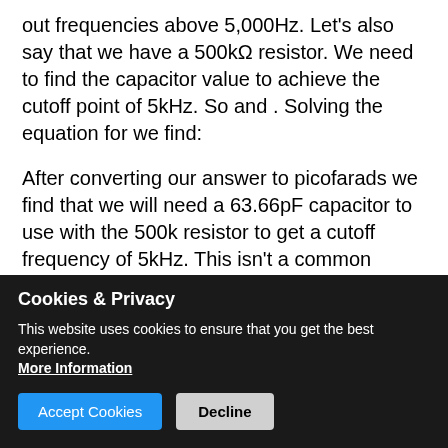out frequencies above 5,000Hz. Let's also say that we have a 500kΩ resistor. We need to find the capacitor value to achieve the cutoff point of 5kHz. So and . Solving the equation for we find:
After converting our answer to picofarads we find that we will need a 63.66pF capacitor to use with the 500k resistor to get a cutoff frequency of 5kHz. This isn't a common capacitor value so we can see what happens when we use the more common 62pF value with the formula.
In this case, the closest common value gets the cutoff frequency fairly close to the desired 5kHz. If it needed
Cookies & Privacy
This website uses cookies to ensure that you get the best experience.
More Information